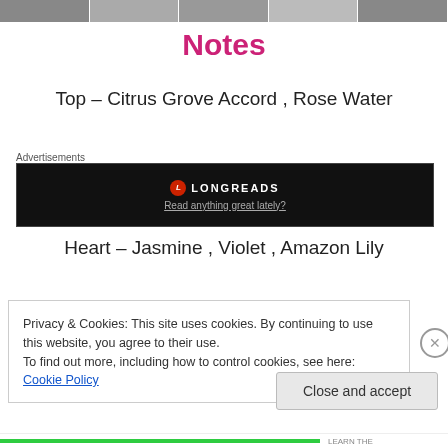[Figure (photo): Black and white photo strip of people at the top of the page]
Notes
Top – Citrus Grove Accord , Rose Water
Advertisements
[Figure (screenshot): Longreads advertisement banner with logo and tagline 'Read anything great lately?']
Heart – Jasmine , Violet , Amazon Lily
Privacy & Cookies: This site uses cookies. By continuing to use this website, you agree to their use.
To find out more, including how to control cookies, see here: Cookie Policy
Close and accept